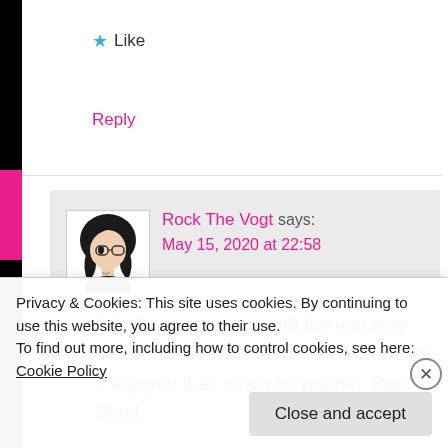★ Like
Reply
Rock The Vogt says:
May 15, 2020 at 22:58
My disappointment with the yuri may have doomed this for me, so I can't say I enjoyed it as much as you did. But I liked
Privacy & Cookies: This site uses cookies. By continuing to use this website, you agree to their use.
To find out more, including how to control cookies, see here: Cookie Policy
Close and accept